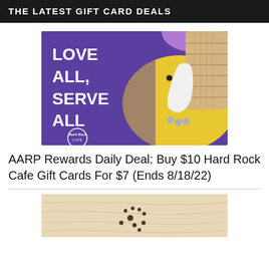THE LATEST GIFT CARD DEALS
[Figure (photo): Hard Rock Cafe gift card with purple background, bold white text reading LOVE ALL, SERVE ALL with Hard Rock Cafe logo, and a yellow electric guitar on the right side.]
AARP Rewards Daily Deal: Buy $10 Hard Rock Cafe Gift Cards For $7 (Ends 8/18/22)
[Figure (photo): Light wood surface with scattered dark dot markings, partial view at bottom of page.]